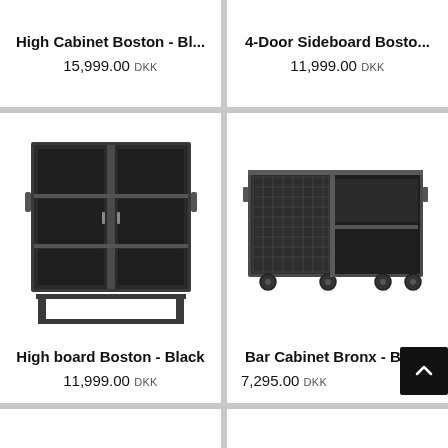High Cabinet Boston - Bl...
15,999.00 DKK
4-Door Sideboard Bosto...
11,999.00 DKK
[Figure (photo): High board Boston - Black furniture cabinet with glass doors and dark metal frame on stand]
High board Boston - Black
11,999.00 DKK
[Figure (photo): Bar Cabinet Bronx - Black industrial cabinet on wheels with mesh door and open shelf]
Bar Cabinet Bronx - Black
7,295.00 DKK